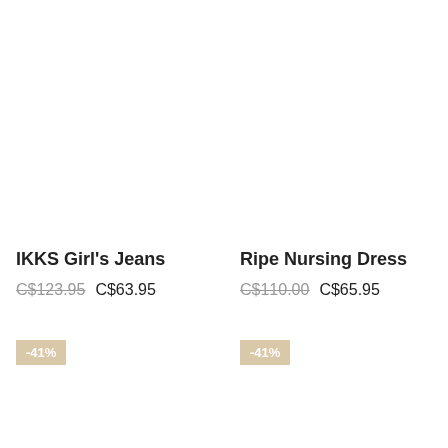IKKS Girl's Jeans
C$123.95  C$63.95
-41%
Ripe Nursing Dress
C$110.00  C$65.95
-41%